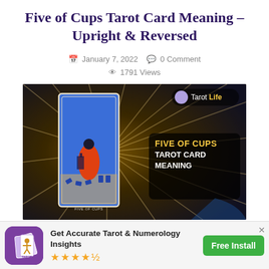Five of Cups Tarot Card Meaning – Upright & Reversed
January 7, 2022  0 Comment  1791 Views
[Figure (photo): Featured image showing the Five of Cups tarot card with a figure in an orange robe, three spilled cups, two upright cups, against blue card background, with text 'FIVE OF CUPS TAROT CARD MEANING' and 'Tarot Life' logo on dark sunburst background]
[Figure (infographic): App advertisement banner with Tarot app icon, text 'Get Accurate Tarot & Numerology Insights', 4.5 star rating, and green 'Free Install' button]